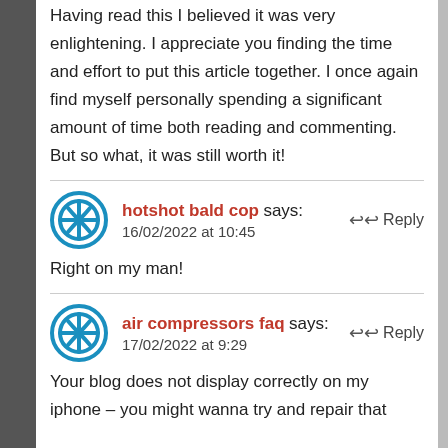Having read this I believed it was very enlightening. I appreciate you finding the time and effort to put this article together. I once again find myself personally spending a significant amount of time both reading and commenting. But so what, it was still worth it!
hotshot bald cop says: 16/02/2022 at 10:45
Right on my man!
air compressors faq says: 17/02/2022 at 9:29
Your blog does not display correctly on my iphone – you might wanna try and repair that